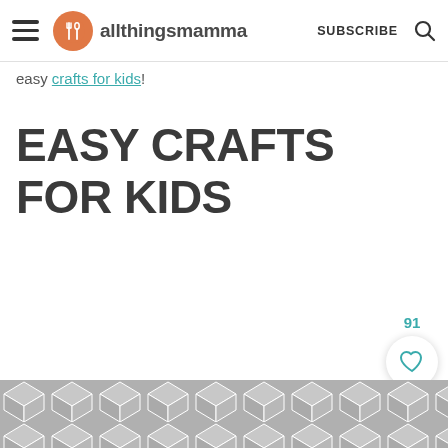allthingsmamma | SUBSCRIBE
easy crafts for kids!
EASY CRAFTS FOR KIDS
[Figure (other): Heart/save button with count 91 and teal search button]
[Figure (other): Bottom decorative pattern with grey geometric hexagon/cube tessellation]